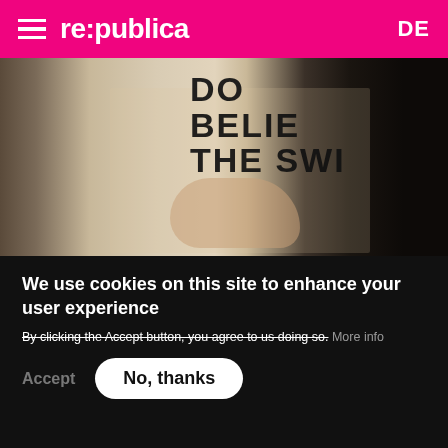re:publica  DE
[Figure (photo): Person working at a printing press with a sign reading 'DON'T BELIEVE THE SWI[NE]' in bold black letters on a light wooden board]
Politics & Society
Reflections on the change of societies and political dynamics due to digitization are at the core of the re:publica programme. We are [interested in changin]g power balances, in societal change and civic
Privacy settings
We use cookies on this site to enhance your user experience
By clicking the Accept button, you agree to us doing so. More info
Accept   No, thanks